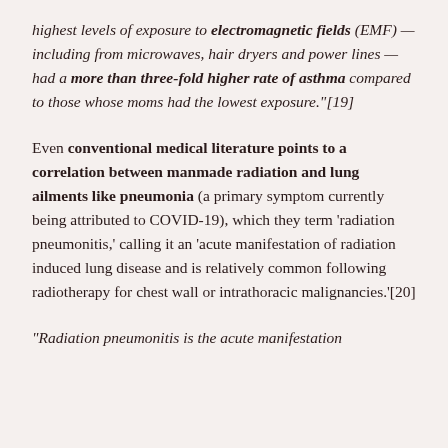highest levels of exposure to electromagnetic fields (EMF) — including from microwaves, hair dryers and power lines — had a more than three-fold higher rate of asthma compared to those whose moms had the lowest exposure."[19]
Even conventional medical literature points to a correlation between manmade radiation and lung ailments like pneumonia (a primary symptom currently being attributed to COVID-19), which they term 'radiation pneumonitis,' calling it an 'acute manifestation of radiation induced lung disease and is relatively common following radiotherapy for chest wall or intrathoracic malignancies.'[20]
"Radiation pneumonitis is the acute manifestation